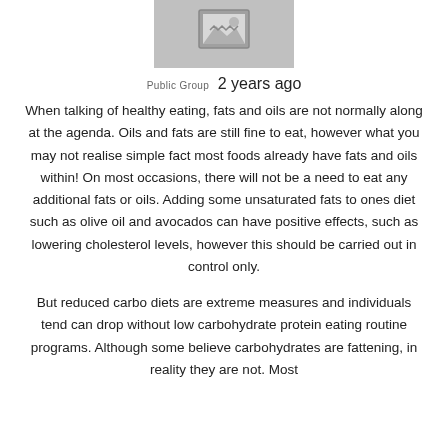[Figure (photo): A placeholder image (grey rectangle with broken image icon) representing a group or profile photo]
Public Group  2 years ago
When talking of healthy eating, fats and oils are not normally along at the agenda. Oils and fats are still fine to eat, however what you may not realise simple fact most foods already have fats and oils within! On most occasions, there will not be a need to eat any additional fats or oils. Adding some unsaturated fats to ones diet such as olive oil and avocados can have positive effects, such as lowering cholesterol levels, however this should be carried out in control only.
But reduced carbo diets are extreme measures and individuals tend can drop without low carbohydrate protein eating routine programs. Although some believe carbohydrates are fattening, in reality they are not. Most